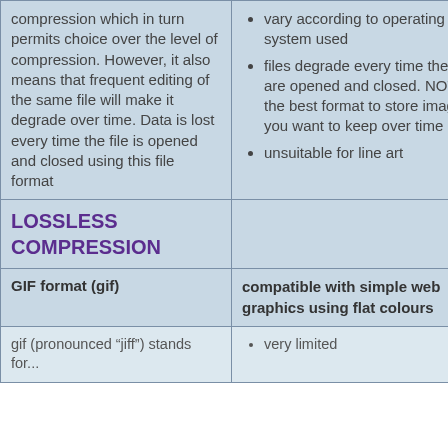compression which in turn permits choice over the level of compression. However, it also means that frequent editing of the same file will make it degrade over time. Data is lost every time the file is opened and closed using this file format
vary according to operating system used
files degrade every time they are opened and closed. NOT the best format to store images you want to keep over time
unsuitable for line art
LOSSLESS COMPRESSION
GIF format (gif)
compatible with simple web graphics using flat colours
gif (pronounced “jiff”) stands for...
very limited